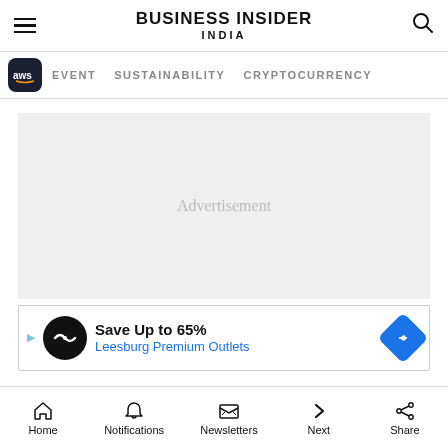BUSINESS INSIDER INDIA
EVENT   SUSTAINABILITY   CRYPTOCURRENCY
[Figure (screenshot): Advertisement placeholder area with light gray background]
Save Up to 65% Leesburg Premium Outlets
Home   Notifications   Newsletters   Next   Share